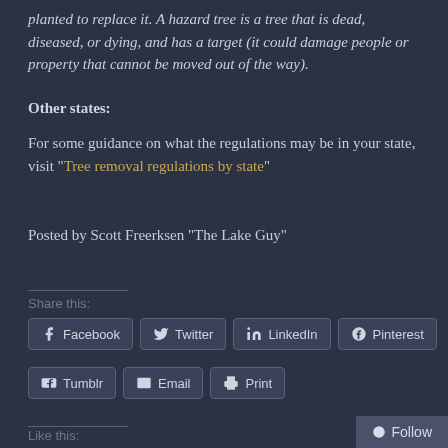planted to replace it. A hazard tree is a tree that is dead, diseased, or dying, and has a target (it could damage people or property that cannot be moved out of the way).
Other states:
For some guidance on what the regulations may be in your state, visit "Tree removal regulations by state"
Posted by Scott Freerksen "The Lake Guy"
Share this:
Like this:
Loading...